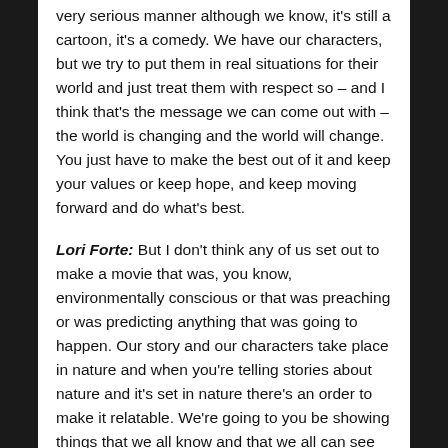very serious manner although we know, it's still a cartoon, it's a comedy. We have our characters, but we try to put them in real situations for their world and just treat them with respect so – and I think that's the message we can come out with – the world is changing and the world will change. You just have to make the best out of it and keep your values or keep hope, and keep moving forward and do what's best.
Lori Forte: But I don't think any of us set out to make a movie that was, you know, environmentally conscious or that was preaching or was predicting anything that was going to happen. Our story and our characters take place in nature and when you're telling stories about nature and it's set in nature there's an order to make it relatable. We're going to you be showing things that we all know and that we all can see and those logical progressions will ultimately, coincidentally happen. When we were making the first movie, when we were making 'Ice Age' we had, again, the script done and we in production – well into